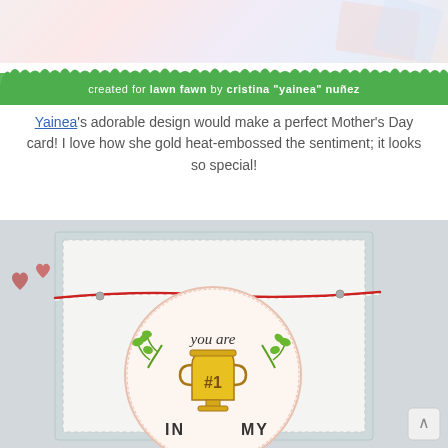[Figure (photo): Crafting card photo with grass banner at bottom reading 'created for lawn fawn by cristina "yainea" nuñez']
Yainea's adorable design would make a perfect Mother's Day card! I love how she gold heat-embossed the sentiment; it looks so special!
[Figure (photo): Handmade card featuring a trophy stamped image with '#1' text, 'you are' sentiment, decorative vine branches, red and white twine, on a light blue card base with small hearts visible in upper left]